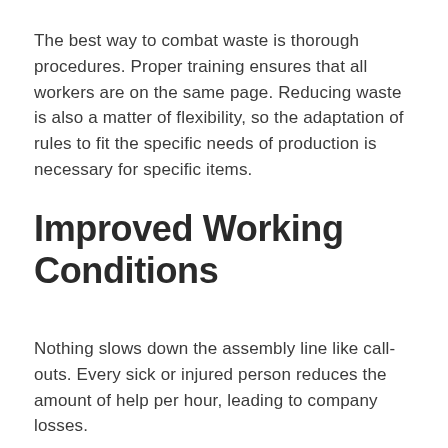The best way to combat waste is thorough procedures. Proper training ensures that all workers are on the same page. Reducing waste is also a matter of flexibility, so the adaptation of rules to fit the specific needs of production is necessary for specific items.
Improved Working Conditions
Nothing slows down the assembly line like call-outs. Every sick or injured person reduces the amount of help per hour, leading to company losses.